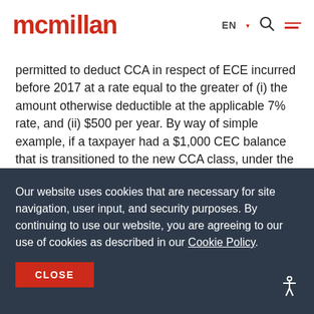mcmillan
permitted to deduct CCA in respect of ECE incurred before 2017 at a rate equal to the greater of (i) the amount otherwise deductible at the applicable 7% rate, and (ii) $500 per year. By way of simple example, if a taxpayer had a $1,000 CEC balance that is transitioned to the new CCA class, under the general proposed transitional rules, the taxpayer will be entitled to claim CCA at a rate of 7% per year on a
Our website uses cookies that are necessary for site navigation, user input, and security purposes. By continuing to use our website, you are agreeing to our use of cookies as described in our Cookie Policy.
CLOSE